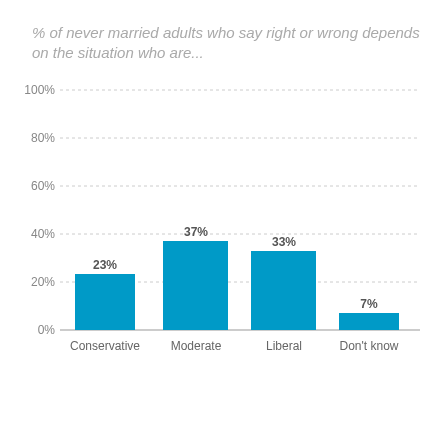[Figure (bar-chart): % of never married adults who say right or wrong depends on the situation who are...]